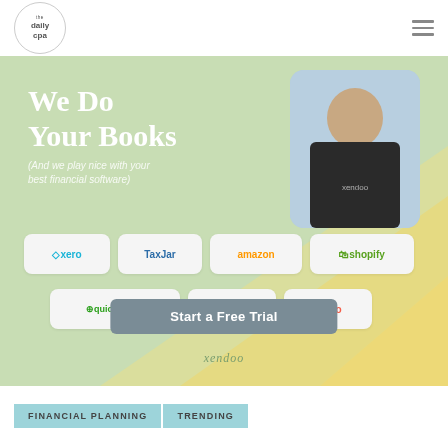the daily cpa
[Figure (infographic): Xendoo bookkeeping service advertisement banner with headline 'We Do Your Books', subtitle '(And we play nice with your best financial software)', a photo of a person in a black Xendoo t-shirt, software partner logos (xero, TaxJar, amazon, shopify, quickbooks, stripe, gusto), a 'Start a Free Trial' button, and Xendoo branding]
FINANCIAL PLANNING
TRENDING